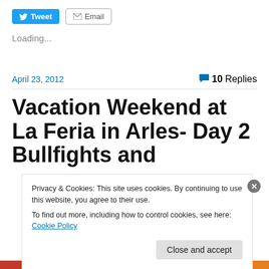[Figure (other): Tweet button with Twitter bird icon]
[Figure (other): Email button with envelope icon]
Loading...
April 23, 2012
10 Replies
Vacation Weekend at La Feria in Arles- Day 2 Bullfights and
Privacy & Cookies: This site uses cookies. By continuing to use this website, you agree to their use.
To find out more, including how to control cookies, see here: Cookie Policy
Close and accept